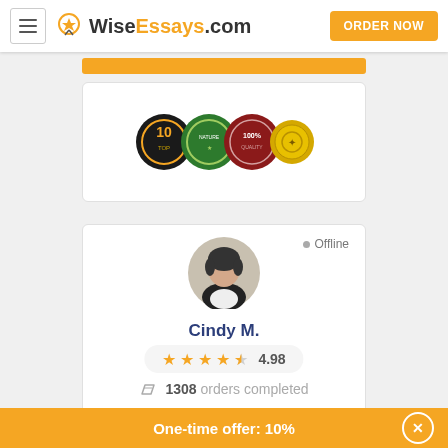WiseEssays.com — ORDER NOW
[Figure (illustration): Four achievement/badge medals overlapping: a black medal with number 10, a green 'Nature' badge, a red '100%' badge, and a gold award coin]
[Figure (photo): Profile photo of writer Cindy M. — a woman with short dark hair wearing a black top, circular avatar]
Offline
Cindy M.
4.98
1308 orders completed
One-time offer: 10%